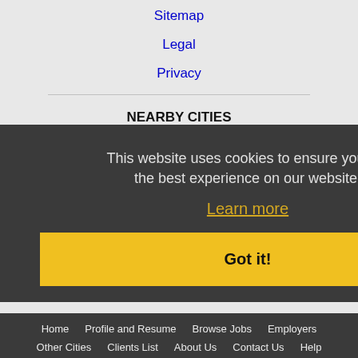Sitemap
Legal
Privacy
NEARBY CITIES
Bloomington, IL Jobs
Decatur, IL Jobs
Joliet, IL Jobs
Lafayette, IN Jobs
Normal, IL Jobs
Peoria, IL Jobs
Springfield, IL Jobs
Terre Haute, IN Jobs
This website uses cookies to ensure you get the best experience on our website. Learn more
Got it!
Home   Profile and Resume   Browse Jobs   Employers   Other Cities   Clients List   About Us   Contact Us   Help